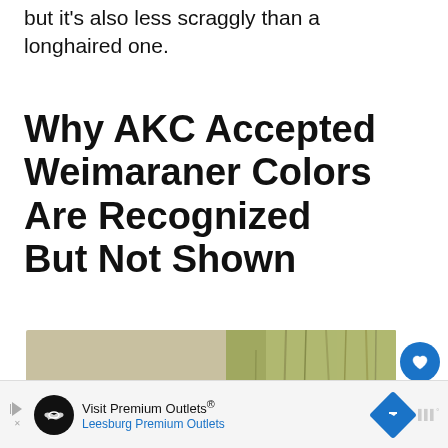but it's also less scraggly than a longhaired one.
Why AKC Accepted Weimaraner Colors Are Recognized But Not Shown
[Figure (photo): Close-up photo of a Weimaraner dog's head peeking above grass/wheat stalks in a field, showing the dog's grey/silver fur and forehead]
[Figure (infographic): What's Next overlay with thumbnail image of a Boxer dog and text: Boxer Colors: Finding The...]
[Figure (infographic): Like button (heart icon, blue circle) with count 11, and share button (blue circle)]
Visit Premium Outlets® Leesburg Premium Outlets